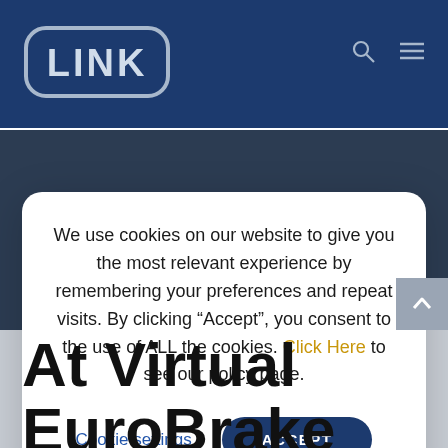[Figure (logo): LINK brand logo in white text with rounded rectangle border on dark navy background header bar]
We use cookies on our website to give you the most relevant experience by remembering your preferences and repeat visits. By clicking “Accept”, you consent to the use of ALL the cookies. Click Here to see our policy page.
Cookie settings
ACCEPT
At Virtual EuroBrake 2021